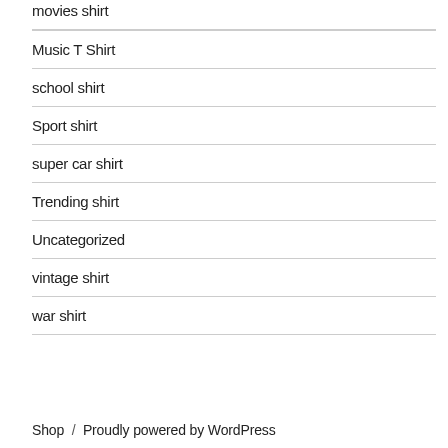movies shirt
Music T Shirt
school shirt
Sport shirt
super car shirt
Trending shirt
Uncategorized
vintage shirt
war shirt
Shop  /  Proudly powered by WordPress